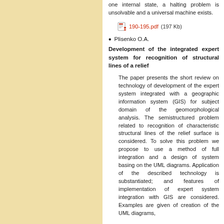one internal state, a halting problem is unsolvable and a universal machine exists.
190-195.pdf (197 Kb)
Plisenko O.A.
Development of the integrated expert system for recognition of structural lines of a relief
The paper presents the short review on technology of development of the expert system integrated with a geographic information system (GIS) for subject domain of the geomorphological analysis. The semistructured problem related to recognition of characteristic structural lines of the relief surface is considered. To solve this problem we propose to use a method of full integration and a design of system basing on the UML diagrams. Application of the described technology is substantiated; and features of implementation of expert system integration with GIS are considered. Examples are given of creation of the UML diagrams,